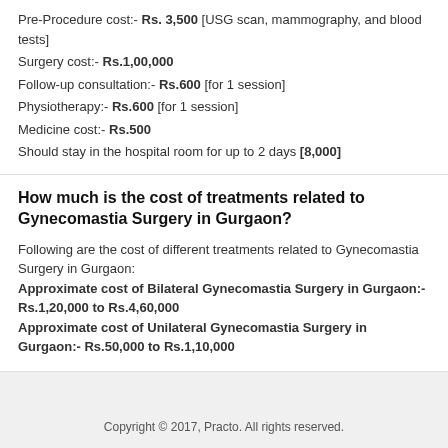Pre-Procedure cost:- Rs. 3,500 [USG scan, mammography, and blood tests]
Surgery cost:- Rs.1,00,000
Follow-up consultation:- Rs.600 [for 1 session]
Physiotherapy:- Rs.600 [for 1 session]
Medicine cost:- Rs.500
Should stay in the hospital room for up to 2 days [8,000]
How much is the cost of treatments related to Gynecomastia Surgery in Gurgaon?
Following are the cost of different treatments related to Gynecomastia Surgery in Gurgaon: Approximate cost of Bilateral Gynecomastia Surgery in Gurgaon:- Rs.1,20,000 to Rs.4,60,000 Approximate cost of Unilateral Gynecomastia Surgery in Gurgaon:- Rs.50,000 to Rs.1,10,000
Copyright © 2017, Practo. All rights reserved.